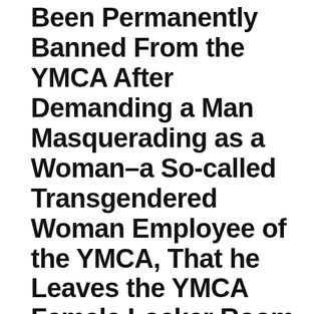Been Permanently Banned From the YMCA After Demanding a Man Masquerading as a Woman–a So-called Transgendered Woman Employee of the YMCA, That he Leaves the YMCA Female Locker Room as She Caught Him Looking at Little